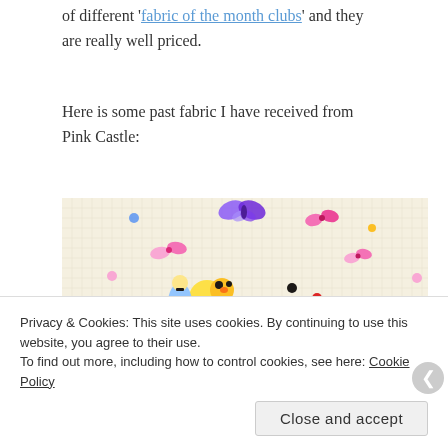of different 'fabric of the month clubs' and they are really well priced.
Here is some past fabric I have received from Pink Castle:
[Figure (photo): Close-up photo of a light cream colored fabric with a whimsical pattern featuring small illustrated characters including Alice in Wonderland figures, butterflies, bows, hearts, flowers, and other cute decorative elements in pink, blue, red, yellow, and black colors.]
Privacy & Cookies: This site uses cookies. By continuing to use this website, you agree to their use.
To find out more, including how to control cookies, see here: Cookie Policy
Close and accept